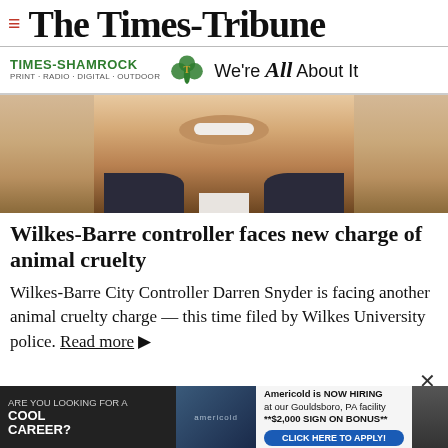The Times-Tribune
[Figure (logo): Times-Shamrock logo with shamrock icon and tagline 'We're All About It'. Subtext: PRINT · RADIO · DIGITAL · OUTDOOR]
[Figure (photo): Close-up photo of a man's face (lower half visible — chin, lips, slight smile), wearing a dark jacket with light shirt collar. Beige/cream background.]
Wilkes-Barre controller faces new charge of animal cruelty
Wilkes-Barre City Controller Darren Snyder is facing another animal cruelty charge — this time filed by Wilkes University police. Read more ▶
[Figure (infographic): Advertisement banner: 'ARE YOU LOOKING FOR A COOL CAREER?' with a person in winter jacket. Americold logo. Right side: 'Americold is NOW HIRING at our Gouldsboro, PA facility **$2,000 SIGN ON BONUS**' with blue 'CLICK HERE TO APPLY!' button.]